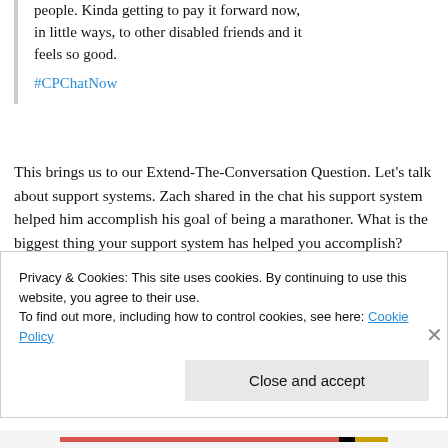people. Kinda getting to pay it forward now, in little ways, to other disabled friends and it feels so good.
#CPChatNow
This brings us to our Extend-The-Conversation Question. Let's talk about support systems. Zach shared in the chat his support system helped him accomplish his goal of being a marathoner. What is the biggest thing your support system has helped you accomplish?
Privacy & Cookies: This site uses cookies. By continuing to use this website, you agree to their use.
To find out more, including how to control cookies, see here: Cookie Policy
Close and accept